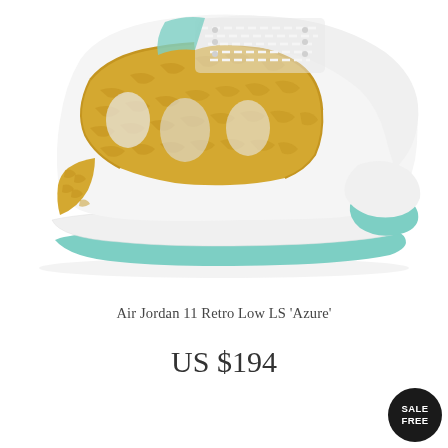[Figure (photo): Air Jordan 11 Retro Low LS 'Azure' sneaker photographed from the side on a white background. The shoe features a white upper with gold elephant-print overlay panels, mesh sections, white midsole, and a light mint/teal outsole. The laces are white.]
Air Jordan 11 Retro Low LS 'Azure'
US $194